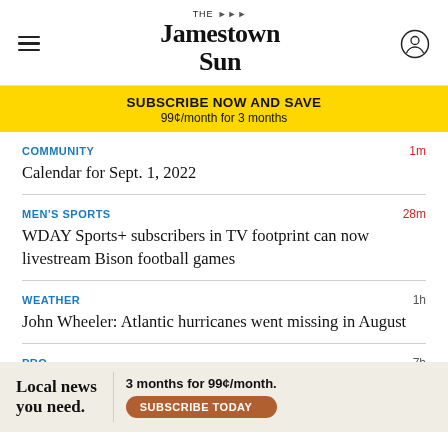The Jamestown Sun
SUBSCRIBE NOW AND SAVE
99¢/month for 3 months
COMMUNITY
1m
Calendar for Sept. 1, 2022
MEN'S SPORTS
28m
WDAY Sports+ subscribers in TV footprint can now livestream Bison football games
WEATHER
1h
John Wheeler: Atlantic hurricanes went missing in August
PRO
7h
Twi
[Figure (other): Advertisement banner: Local news you need. 3 months for 99¢/month. SUBSCRIBE TODAY button.]